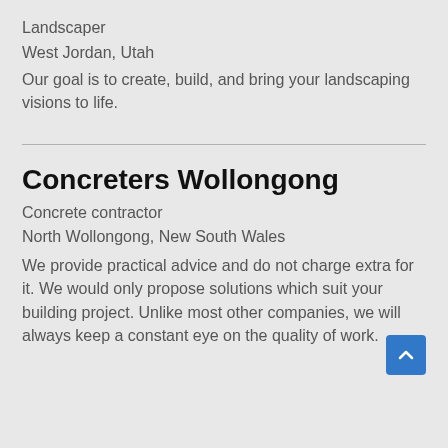Landscaper
West Jordan, Utah
Our goal is to create, build, and bring your landscaping visions to life.
Concreters Wollongong
Concrete contractor
North Wollongong, New South Wales
We provide practical advice and do not charge extra for it. We would only propose solutions which suit your building project. Unlike most other companies, we will always keep a constant eye on the quality of work.